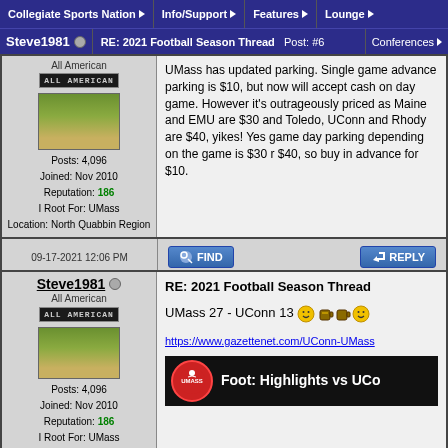Collegiate Sports Nation | Info/Support | Features | Lounge
Steve1981 — RE: 2021 Football Season Thread  Post: #6 | Conferences
All American
Posts: 4,096
Joined: Nov 2010
Reputation: 186
I Root For: UMass
Location: North Quabbin Region
UMass has updated parking. Single game advance parking is $10, but now will accept cash on day game. However it's outrageously priced as Maine and EMU are $30 and Toledo, UConn and Rhody are $40, yikes! Yes game day parking depending on the game is $30 r $40, so buy in advance for $10.
09-17-2021 12:06 PM
FIND   REPLY
Steve1981 — All American
Posts: 4,096
Joined: Nov 2010
Reputation: 186
I Root For: UMass
Location: North Quabbin Region
RE: 2021 Football Season Thread
UMass 27 - UConn 13
https://www.gazettenet.com/UConn-UMass
[Figure (screenshot): Video thumbnail showing UMass Sports Network logo and text 'Foot: Highlights vs UCo']